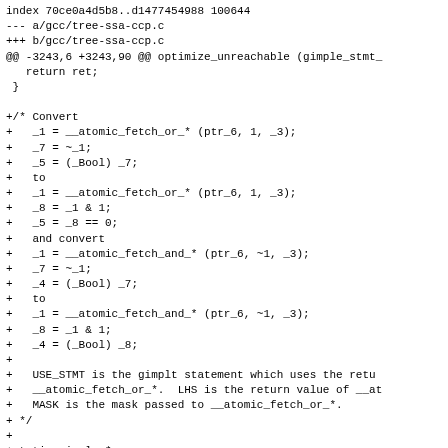index 70ce0a4d5b8..d1477454988 100644
--- a/gcc/tree-ssa-ccp.c
+++ b/gcc/tree-ssa-ccp.c
@@ -3243,6 +3243,90 @@ optimize_unreachable (gimple_stmt_
    return ret;
  }

+/* Convert
+   _1 = __atomic_fetch_or_* (ptr_6, 1, _3);
+   _7 = ~_1;
+   _5 = (_Bool) _7;
+   to
+   _1 = __atomic_fetch_or_* (ptr_6, 1, _3);
+   _8 = _1 & 1;
+   _5 = _8 == 0;
+   and convert
+   _1 = __atomic_fetch_and_* (ptr_6, ~1, _3);
+   _7 = ~_1;
+   _4 = (_Bool) _7;
+   to
+   _1 = __atomic_fetch_and_* (ptr_6, ~1, _3);
+   _8 = _1 & 1;
+   _4 = (_Bool) _8;
+
+   USE_STMT is the gimplt statement which uses the retu
+   __atomic_fetch_or_*.  LHS is the return value of __at
+   MASK is the mask passed to __atomic_fetch_or_*.
+ */
+
+static gimple *
+convert_atomic_bit_not (enum internal_fn fn, gimple_ty